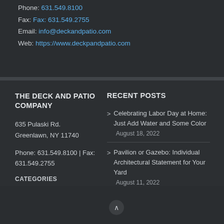Phone: 631.549.8100
Fax: Fax: 631.549.2755
Email: info@deckandpatio.com
Web: https://www.deckpandpatio.com
THE DECK AND PATIO COMPANY
635 Pulaski Rd.
Greenlawn, NY 11740
Phone: 631.549.8100 | Fax: 631.549.2755
CATEGORIES
RECENT POSTS
Celebrating Labor Day at Home: Just Add Water and Some Color
August 18, 2022
Pavilion or Gazebo: Individual Architectural Statement for Your Yard
August 11, 2022